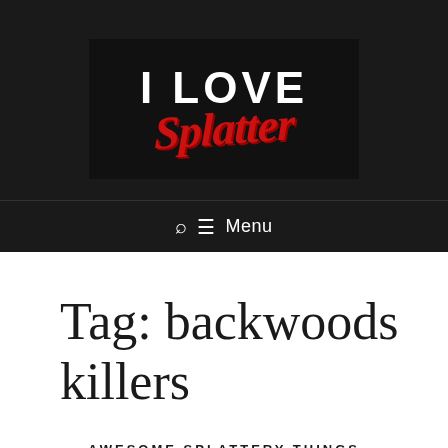[Figure (logo): I Love Splatter logo — black background with 'I LOVE' in white bold uppercase and 'Splatter' in red stylized italic grunge font]
🔍 ≡ Menu
Tag: backwoods killers
AWESOME SPLATTERY THINGS
SPLATTERIFFIC REVIEWS